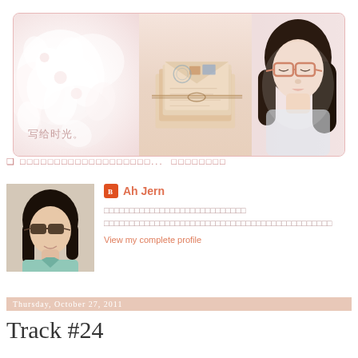[Figure (photo): Blog header banner with soft pink tones: white flowers on left, vintage letters/envelopes in center, young Asian woman with glasses on right. Chinese text '写给时光。' in lower left.]
❑ □□□□□□□□□□□□□□□□□□□... □□□□□□□□
[Figure (photo): Small profile photo of young woman with sunglasses and short dark hair wearing a light blue/teal top.]
Ah Jern
□□□□□□□□□□□□□□□□□□□□□□□□□□□□ □□□□□□□□□□□□□□□□□□□□□□□□□□□□□□□□□□□□□□□□□□□□□
View my complete profile
Thursday, October 27, 2011
Track #24